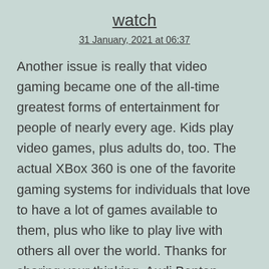watch
31 January, 2021 at 06:37
Another issue is really that video gaming became one of the all-time greatest forms of entertainment for people of nearly every age. Kids play video games, plus adults do, too. The actual XBox 360 is one of the favorite gaming systems for individuals that love to have a lot of games available to them, plus who like to play live with others all over the world. Thanks for sharing your thinking. Audi Benton Ackley